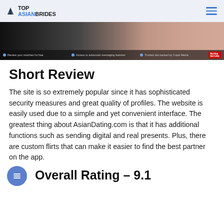TOP ASIAN BRIDES
[Figure (photo): Hero banner image of a woman in pink, with dark overlay showing feature badges: 'Review your matches for free', 'Access to advanced messaging features', 'Trusted site backed by Cupid Media', McAfee Secure logo]
Short Review
The site is so extremely popular since it has sophisticated security measures and great quality of profiles. The website is easily used due to a simple and yet convenient interface. The greatest thing about AsianDating.com is that it has additional functions such as sending digital and real presents. Plus, there are custom flirts that can make it easier to find the best partner on the app.
Overall Rating – 9.1